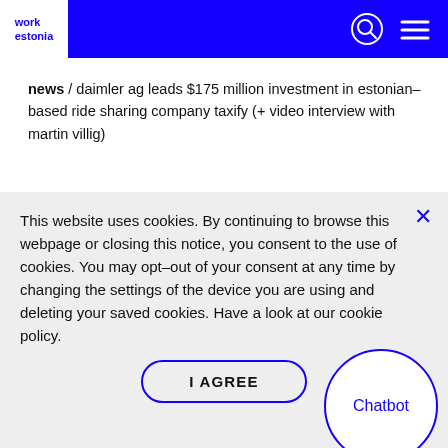work estonia
news / daimler ag leads $175 million investment in estonian–based ride sharing company taxify (+ video interview with martin villig)
This website uses cookies. By continuing to browse this webpage or closing this notice, you consent to the use of cookies. You may opt–out of your consent at any time by changing the settings of the device you are using and deleting your saved cookies. Have a look at our cookie policy.
I AGREE
Chatbot